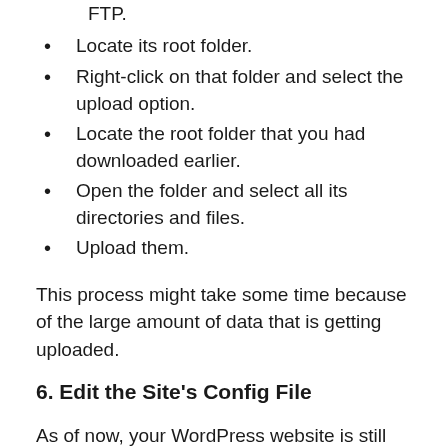FTP.
Locate its root folder.
Right-click on that folder and select the upload option.
Locate the root folder that you had downloaded earlier.
Open the folder and select all its directories and files.
Upload them.
This process might take some time because of the large amount of data that is getting uploaded.
6. Edit the Site's Config File
As of now, your WordPress website is still connected to the old database. Therefore, if